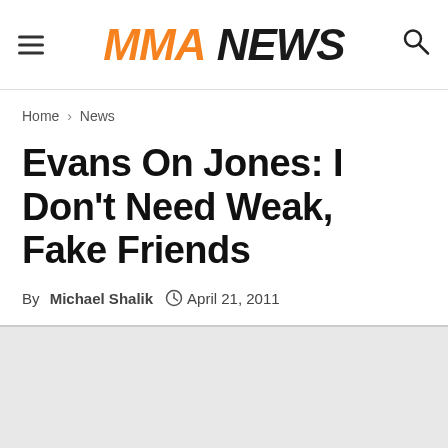MMA NEWS
Home › News
Evans On Jones: I Don't Need Weak, Fake Friends
By Michael Shalik  April 21, 2011